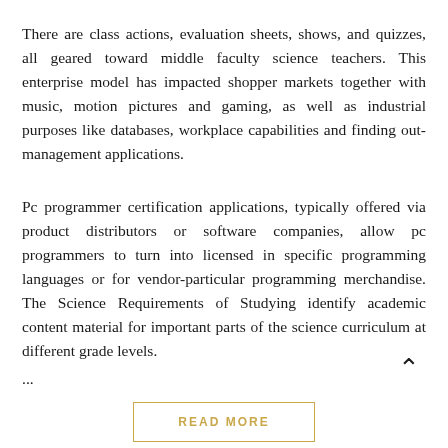There are class actions, evaluation sheets, shows, and quizzes, all geared toward middle faculty science teachers. This enterprise model has impacted shopper markets together with music, motion pictures and gaming, as well as industrial purposes like databases, workplace capabilities and finding out-management applications.
Pc programmer certification applications, typically offered via product distributors or software companies, allow pc programmers to turn into licensed in specific programming languages or for vendor-particular programming merchandise. The Science Requirements of Studying identify academic content material for important parts of the science curriculum at different grade levels.
...
READ MORE